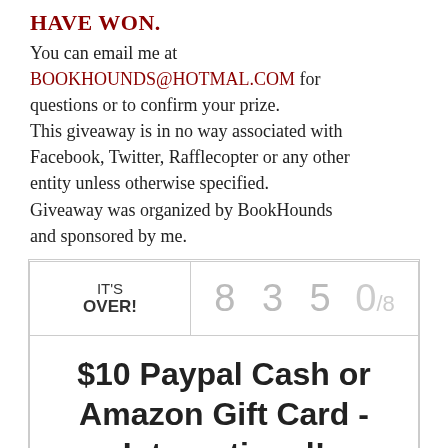HAVE WON. You can email me at BOOKHOUNDS@HOTMAL.COM for questions or to confirm your prize. This giveaway is in no way associated with Facebook, Twitter, Rafflecopter or any other entity unless otherwise specified. Giveaway was organized by BookHounds and sponsored by me.
| IT'S OVER! | 8 3 5 | 0/8 |
| $10 Paypal Cash or Amazon Gift Card - International! |  |  |
$10 Paypal Cash or Amazon Gift Card - International!